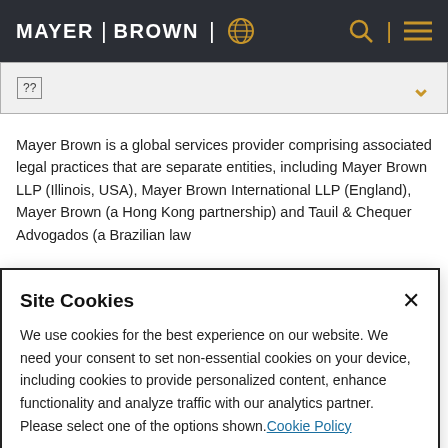MAYER | BROWN
??
Mayer Brown is a global services provider comprising associated legal practices that are separate entities, including Mayer Brown LLP (Illinois, USA), Mayer Brown International LLP (England), Mayer Brown (a Hong Kong partnership) and Tauil & Chequer Advogados (a Brazilian law
Site Cookies
We use cookies for the best experience on our website. We need your consent to set non-essential cookies on your device, including cookies to provide personalized content, enhance functionality and analyze traffic with our analytics partner. Please select one of the options shown. Cookie Policy
Accept All   Reject All